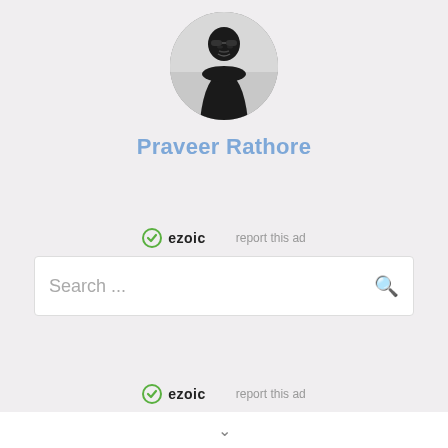[Figure (photo): Circular profile photo of a man wearing sunglasses and a black shirt, black and white photo]
Praveer Rathore
[Figure (other): Ezoic advertisement bar with ezoic logo and 'report this ad' link]
[Figure (other): Search box with placeholder text 'Search ...' and a search icon]
[Figure (other): Ezoic advertisement bar with ezoic logo and 'report this ad' link]
Archives